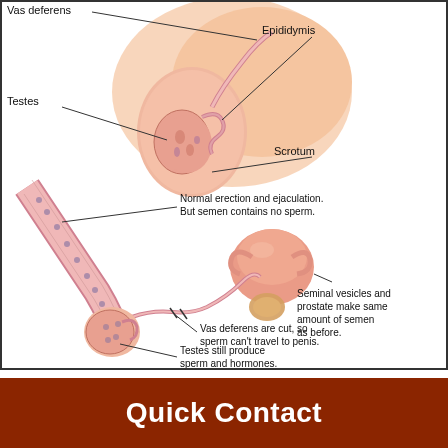[Figure (illustration): Medical illustration of male reproductive anatomy showing vasectomy. Top portion shows close-up of Vas deferens, Epididymis, Testes, and Scrotum labeled with callout lines. Bottom portion shows full anatomy with labeled callouts: 'Normal erection and ejaculation. But semen contains no sperm.', 'Seminal vesicles and prostate make same amount of semen as before.', 'Vas deferens are cut, so sperm can't travel to penis.', 'Testes still produce sperm and hormones.']
Quick Contact